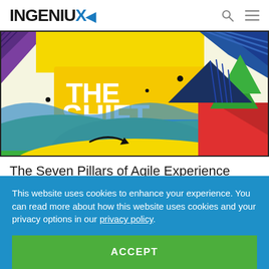INGENIUX
[Figure (illustration): Colorful illustrated banner image titled 'THE SHIFT PART. 3' with mountains, waves, and geometric shapes in purple, blue, green, yellow, and red colors.]
The Seven Pillars of Agile Experience
In part three of our series about the paradigm shift from
This website uses cookies to enhance your experience. You can read more about how this website uses cookies and your privacy options in our privacy policy.
ACCEPT